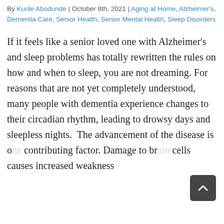By Kunle Abodunde | October 8th, 2021 | Aging at Home, Alzheimer's, Dementia Care, Senior Health, Senior Mental Health, Sleep Disorders
If it feels like a senior loved one with Alzheimer's and sleep problems has totally rewritten the rules on how and when to sleep, you are not dreaming. For reasons that are not yet completely understood, many people with dementia experience changes to their circadian rhythm, leading to drowsy days and sleepless nights. The advancement of the disease is one contributing factor. Damage to brain cells causes increased weakness…